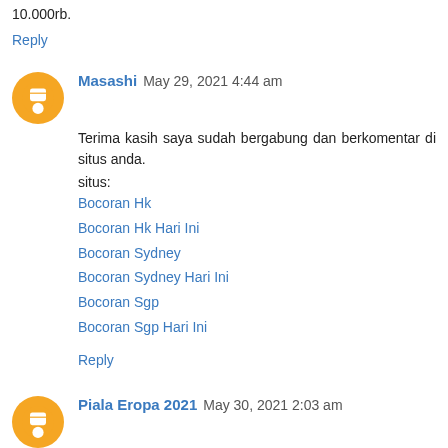10.000rb.
Reply
Masashi  May 29, 2021 4:44 am
Terima kasih saya sudah bergabung dan berkomentar di situs anda.
situs:
Bocoran Hk
Bocoran Hk Hari Ini
Bocoran Sydney
Bocoran Sydney Hari Ini
Bocoran Sgp
Bocoran Sgp Hari Ini
Reply
Piala Eropa 2021  May 30, 2021 2:03 am
piala eropa 2021
piala eropa 2021
piala eropa 2021